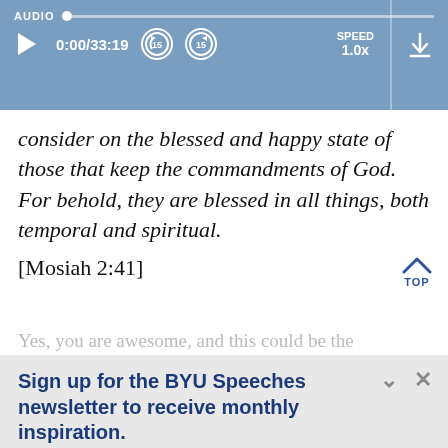[Figure (screenshot): Audio player bar with progress bar, play button, time 0:00/33:19, rewind 15, forward 15 buttons, SPEED 1.0x, and download icon on blue background]
consider on the blessed and happy state of those that keep the commandments of God. For behold, they are blessed in all things, both temporal and spiritual.
[Mosiah 2:41]
Yes, you are awesome, and this could be the
Sign up for the BYU Speeches newsletter to receive monthly inspiration.
A little hope in your inbox.
Enter your email
SUBSCRIBE